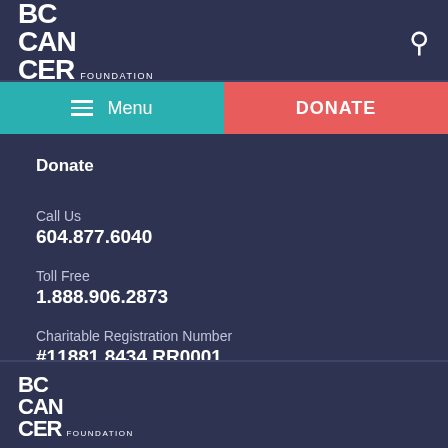BC CANCER FOUNDATION
Menu | DONATE
Donate
Call Us
604.877.6040
Toll Free
1.888.906.2873
Charitable Registration Number
#11881 8434 RR0001
BC CANCER FOUNDATION